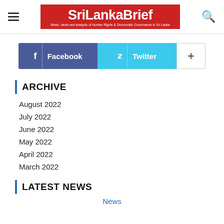SriLankaBrief — News, views and analysis of Human Rights & Democratic Governance in Sri Lanka
[Figure (other): Social media buttons: Facebook, Twitter, and a plus button]
ARCHIVE
August 2022
July 2022
June 2022
May 2022
April 2022
March 2022
LATEST NEWS
News